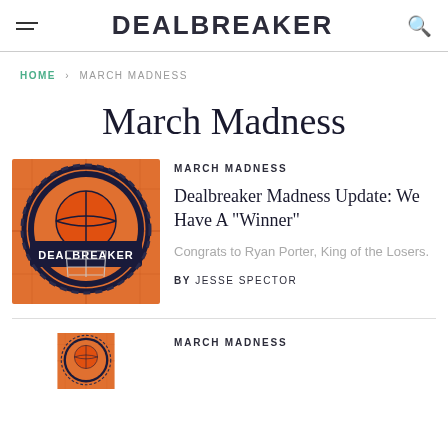DEALBREAKER
HOME › MARCH MADNESS
March Madness
MARCH MADNESS
Dealbreaker Madness Update: We Have A "Winner"
Congrats to Ryan Porter, King of the Losers.
BY JESSE SPECTOR
[Figure (logo): Dealbreaker March Madness basketball court logo with orange background and basketball net graphic]
MARCH MADNESS
[Figure (logo): Partial view of Dealbreaker March Madness basketball logo, orange background]